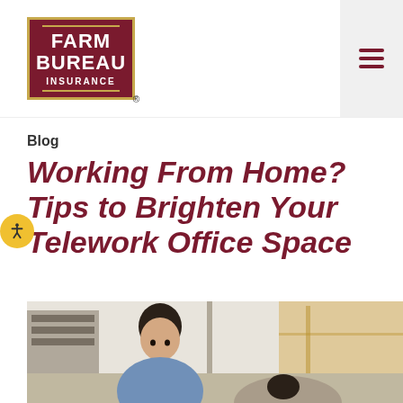Farm Bureau Insurance
Blog
Working From Home? Tips to Brighten Your Telework Office Space
[Figure (photo): A man in a blue shirt sitting at a desk working from home, with a blurred interior background including shelving and windows with warm light.]